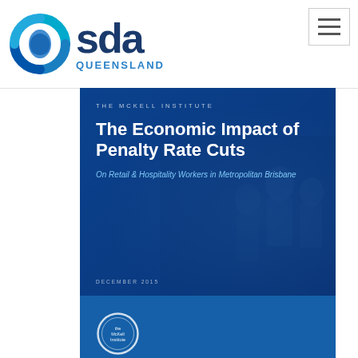[Figure (logo): SDA Queensland logo with circular icon and bold SDA wordmark]
[Figure (screenshot): Website navigation hamburger menu button (three horizontal lines in a bordered box)]
[Figure (screenshot): The McKell Institute report cover: 'The Economic Impact of Penalty Rate Cuts On Retail & Hospitality Workers in Metropolitan Brisbane', December 2015, dark blue with worker silhouettes]
[Figure (screenshot): The McKell Institute report cover: 'Who loses when penalty rates are cut?' with McKell Institute circular logo on dark blue background]